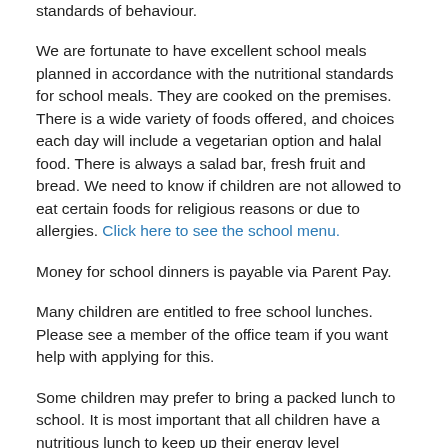standards of behaviour.
We are fortunate to have excellent school meals planned in accordance with the nutritional standards for school meals. They are cooked on the premises. There is a wide variety of foods offered, and choices each day will include a vegetarian option and halal food. There is always a salad bar, fresh fruit and bread. We need to know if children are not allowed to eat certain foods for religious reasons or due to allergies. Click here to see the school menu.
Money for school dinners is payable via Parent Pay.
Many children are entitled to free school lunches. Please see a member of the office team if you want help with applying for this.
Some children may prefer to bring a packed lunch to school. It is most important that all children have a nutritious lunch to keep up their energy level throughout the school day. We ask parents to make sure lunches are packed in a plastic or metal container clearly marked with the child's name and class and that our